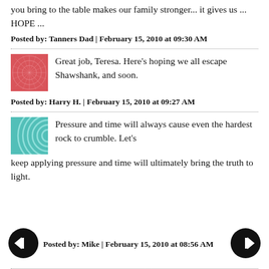you bring to the table makes our family stronger... it gives us ... HOPE ...
Posted by: Tanners Dad | February 15, 2010 at 09:30 AM
[Figure (illustration): Pink/red avatar icon with abstract web/network pattern]
Great job, Teresa. Here's hoping we all escape Shawshank, and soon.
Posted by: Harry H. | February 15, 2010 at 09:27 AM
[Figure (illustration): Teal/green avatar icon with circular pattern]
Pressure and time will always cause even the hardest rock to crumble. Let's keep applying pressure and time will ultimately bring the truth to light.
Posted by: Mike | February 15, 2010 at 08:56 AM